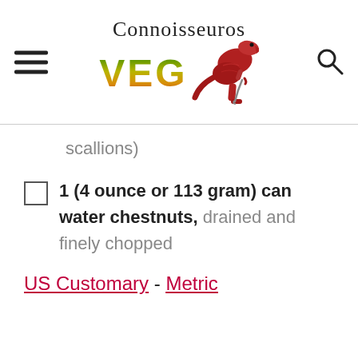Connoisseuros VEG [logo with dinosaur]
scallions)
1 (4 ounce or 113 gram) can water chestnuts, drained and finely chopped
US Customary - Metric